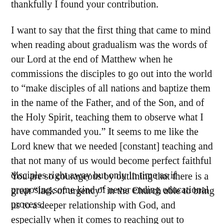thankfully I found your contribution.
I want to say that the first thing that came to mind when reading about gradualism was the words of our Lord at the end of Matthew when he commissions the disciples to go out into the world to “make disciples of all nations and baptize them in the name of the Father, and of the Son, and of the Holy Spirit, teaching them to observe what I have commanded you.” It seems to me like the Lord knew that we needed [constant] teaching and that not many of us would become perfect faithful disciples right away but only in time as if proposing some kind of never ending educational process.
You are so courageous by outlining that there is a great “lack of urgency” in the Church able to bring us to a deeper relationship with God, and especially when it comes to reaching out to